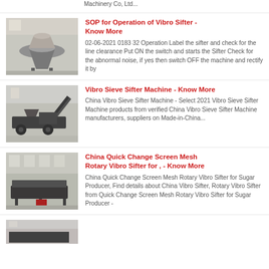Machinery Co, Ltd...
[Figure (photo): Industrial cone crusher machine in a factory setting]
SOP for Operation of Vibro Sifter - Know More
02-06-2021 0183 32 Operation Label the sifter and check for the line clearance Put ON the switch and starts the Sifter Check for the abnormal noise, if yes then switch OFF the machine and rectify it by
[Figure (photo): Industrial mobile crushing/screening machine in a factory]
Vibro Sieve Sifter Machine - Know More
China Vibro Sieve Sifter Machine - Select 2021 Vibro Sieve Sifter Machine products from verified China Vibro Sieve Sifter Machine manufacturers, suppliers on Made-in-China...
[Figure (photo): Industrial vibro sifter machine in warehouse]
China Quick Change Screen Mesh Rotary Vibro Sifter for , - Know More
China Quick Change Screen Mesh Rotary Vibro Sifter for Sugar Producer, Find details about China Vibro Sifter, Rotary Vibro Sifter from Quick Change Screen Mesh Rotary Vibro Sifter for Sugar Producer -
[Figure (photo): Partially visible industrial machinery at bottom of page]